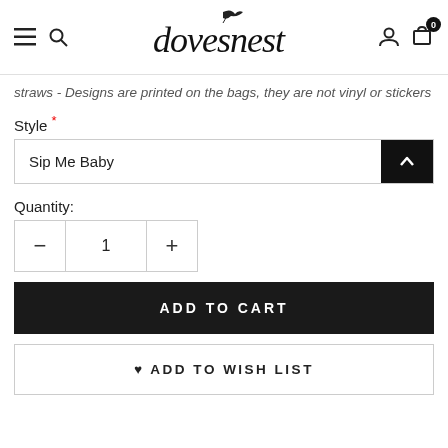[Figure (logo): Dovesnest logo with decorative bird and cursive text 'dovesnest', plus hamburger menu, search, user, and cart icons with 0 badge]
straws - Designs are printed on the bags, they are not vinyl or stickers
Style *
Sip Me Baby
Quantity:
1
ADD TO CART
ADD TO WISH LIST